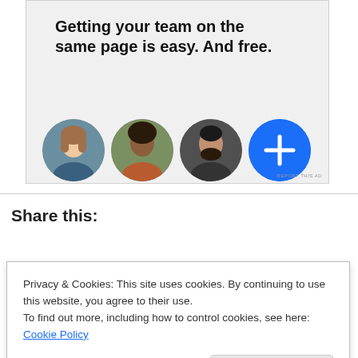[Figure (illustration): Advertisement banner with bold headline text 'Getting your team on the same page is easy. And free.' and three circular profile photo avatars plus a blue circle with a plus sign.]
Share this:
[Figure (screenshot): Share buttons row: Email, Print, Twitter, Facebook]
Privacy & Cookies: This site uses cookies. By continuing to use this website, you agree to their use.
To find out more, including how to control cookies, see here: Cookie Policy
Close and accept